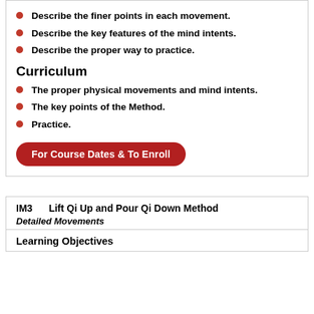Describe the finer points in each movement.
Describe the key features of the mind intents.
Describe the proper way to practice.
Curriculum
The proper physical movements and mind intents.
The key points of the Method.
Practice.
For Course Dates & To Enroll
IM3    Lift Qi Up and Pour Qi Down Method
Detailed Movements
Learning Objectives